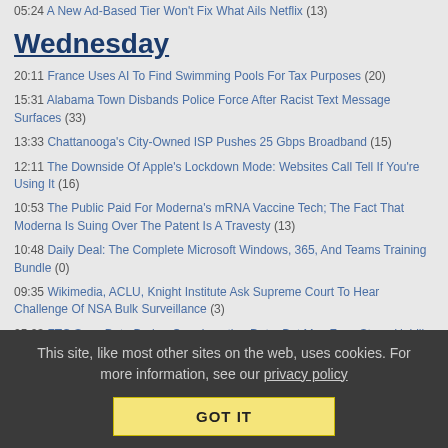05:24 A New Ad-Based Tier Won't Fix What Ails Netflix (13)
Wednesday
20:11 France Uses AI To Find Swimming Pools For Tax Purposes (20)
15:31 Alabama Town Disbands Police Force After Racist Text Message Surfaces (33)
13:33 Chattanooga's City-Owned ISP Pushes 25 Gbps Broadband (15)
12:11 The Downside Of Apple's Lockdown Mode: Websites Call Tell If You're Using It (16)
10:53 The Public Paid For Moderna's mRNA Vaccine Tech; The Fact That Moderna Is Suing Over The Patent Is A Travesty (13)
10:48 Daily Deal: The Complete Microsoft Windows, 365, And Teams Training Bundle (0)
09:35 Wikimedia, ACLU, Knight Institute Ask Supreme Court To Hear Challenge Of NSA Bulk Surveillance (3)
05:23 FTC Sues Data Broker Over Location Data, But May Face Steep Uphill Climb (2)
Tuesday
This site, like most other sites on the web, uses cookies. For more information, see our privacy policy
GOT IT